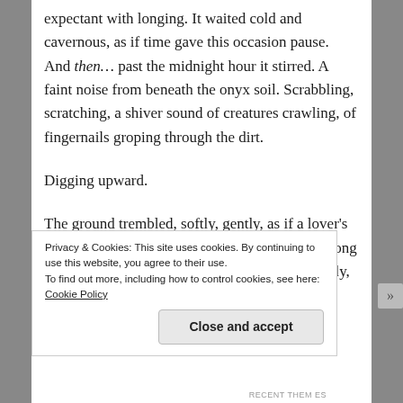expectant with longing. It waited cold and cavernous, as if time gave this occasion pause. And then… past the midnight hour it stirred. A faint noise from beneath the onyx soil. Scrabbling, scratching, a shiver sound of creatures crawling, of fingernails groping through the dirt.
Digging upward.
The ground trembled, softly, gently, as if a lover's touch caressed it. The wind sighed, dancing among the trees and twirling with the hoary mist. Slowly,
Privacy & Cookies: This site uses cookies. By continuing to use this website, you agree to their use.
To find out more, including how to control cookies, see here: Cookie Policy